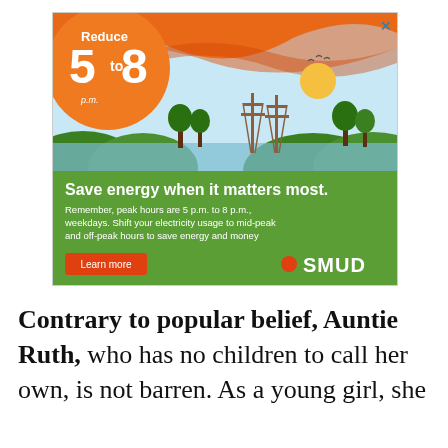[Figure (illustration): SMUD advertisement showing an orange circle with 'Reduce 5 to 8 p.m.' text, a scenic illustration with green hills, trees, and electrical towers against a blue sky with orange wave design. Green lower section with white text 'Save energy when it matters most.' and details about peak hours, with an orange 'Learn more' button and SMUD logo.]
Contrary to popular belief, Auntie Ruth, who has no children to call her own, is not barren. As a young girl, she